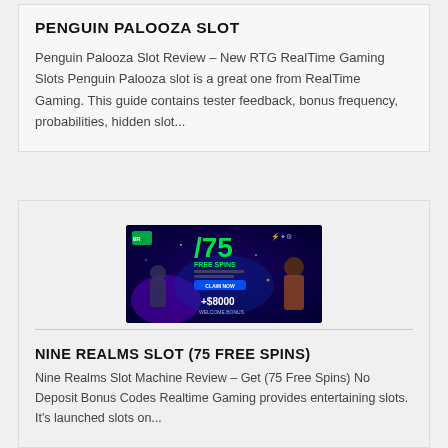PENGUIN PALOOZA SLOT
Penguin Palooza Slot Review – New RTG RealTime Gaming Slots Penguin Palooza slot is a great one from RealTime Gaming. This guide contains tester feedback, bonus frequency, probabilities, hidden slot...
[Figure (illustration): Casino advertisement banner showing '75 FREE SPINS' and '+$8000 WELCOME BONUS' with armed character figures on a dark purple/blue background]
NINE REALMS SLOT (75 FREE SPINS)
Nine Realms Slot Machine Review – Get (75 Free Spins) No Deposit Bonus Codes Realtime Gaming provides entertaining slots. It's launched slots on...